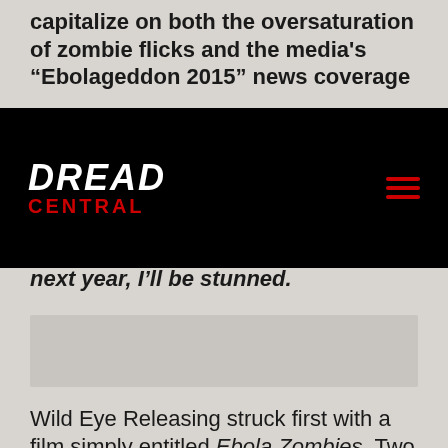capitalize on both the oversaturation of zombie flicks and the media's “Ebolageddon 2015” news coverage
[Figure (logo): Dread Central logo on black navigation bar with hamburger menu icon]
next year, I’ll be stunned.
[Figure (other): Gray advertisement placeholder block]
Wild Eye Releasing struck first with a film simply entitled Ebola Zombies. Two weeks before AFM it was entitled SARS Zombies. Honestly, who remembers SARS? That non-pocalypse was so five years ago – longer, actually. In fact, I’m not 100% certain, but I think this movie